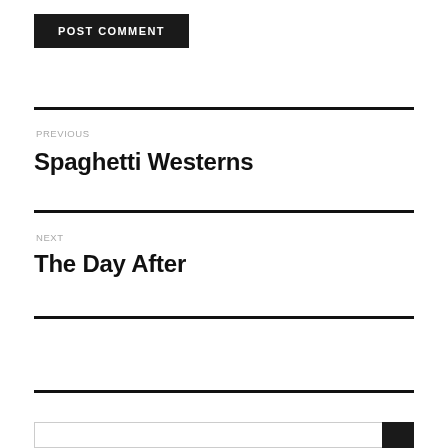POST COMMENT
PREVIOUS
Spaghetti Westerns
NEXT
The Day After